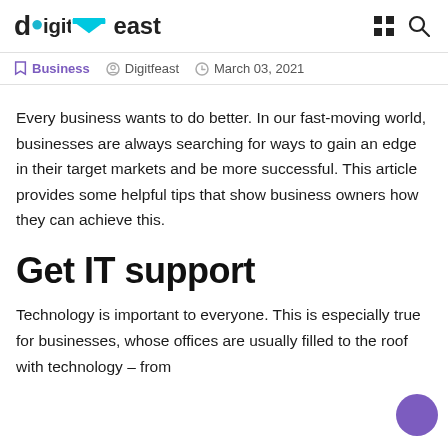digitfeast
Business · Digitfeast · March 03, 2021
Every business wants to do better. In our fast-moving world, businesses are always searching for ways to gain an edge in their target markets and be more successful. This article provides some helpful tips that show business owners how they can achieve this.
Get IT support
Technology is important to everyone. This is especially true for businesses, whose offices are usually filled to the roof with technology – from